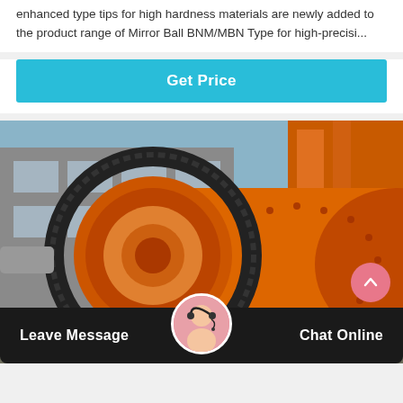enhanced type tips for high hardness materials are newly added to the product range of Mirror Ball BNM/MBN Type for high-precisi...
[Figure (other): Button linking to get price]
[Figure (photo): Large industrial orange ball mill machine outdoors in front of a factory building, with a prominent gear ring, cylindrical drum with bolted panels, and orange structural framework visible.]